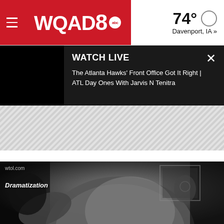[Figure (screenshot): WQAD8 ABC news website header with hamburger menu, red logo, weather showing 74° Davenport, IA]
[Figure (screenshot): Watch Live banner on dark background showing thumbnail and text: The Atlanta Hawks' Front Office Got It Right | ATL Day Ones With Jarvis N Tenitra]
[Figure (other): Diagonal hatched light gray advertisement placeholder stripe]
[Figure (photo): Black and white dramatization footage from wtol.com showing a person from behind in a t-shirt, with Dramatization text overlay]